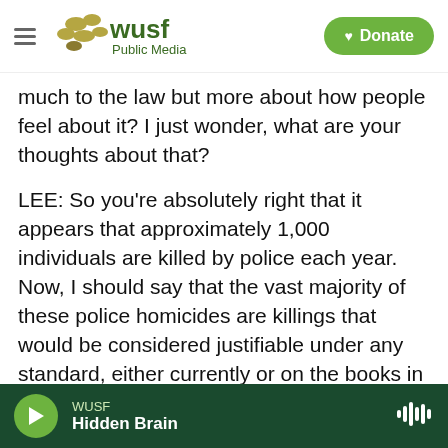WUSF Public Media — Donate
much to the law but more about how people feel about it? I just wonder, what are your thoughts about that?
LEE: So you're absolutely right that it appears that approximately 1,000 individuals are killed by police each year. Now, I should say that the vast majority of these police homicides are killings that would be considered justifiable under any standard, either currently or on the books in the future. But that still doesn't account for the many who get - who are shot and killed or killed by police who actually did not pose a deadly threat and for whom there are
WUSF — Hidden Brain